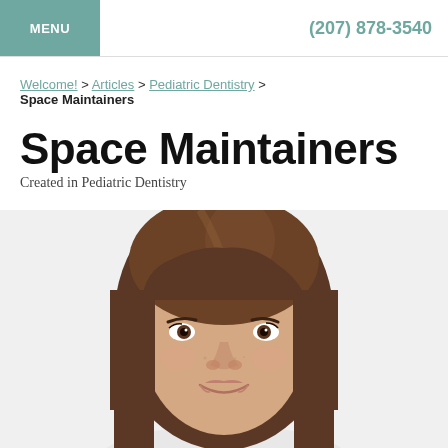MENU | (207) 878-3540
Welcome! > Articles > Pediatric Dentistry > Space Maintainers
Space Maintainers
Created in Pediatric Dentistry
[Figure (photo): Portrait photo of a smiling teenage girl with long brown hair, cropped to show face and top of head against a white background]